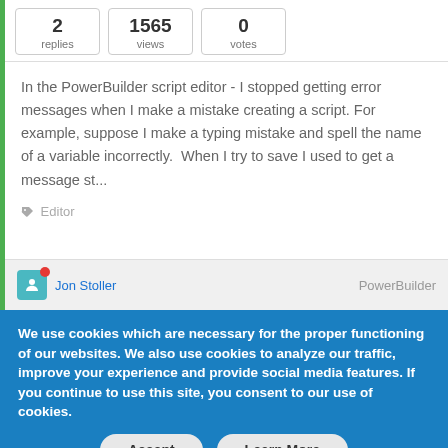| replies | views | votes |
| --- | --- | --- |
| 2 | 1565 | 0 |
In the PowerBuilder script editor - I stopped getting error messages when I make a mistake creating a script. For example, suppose I make a typing mistake and spell the name of a variable incorrectly.  When I try to save I used to get a message st...
Editor
Jon Stoller   PowerBuilder
We use cookies which are necessary for the proper functioning of our websites. We also use cookies to analyze our traffic, improve your experience and provide social media features. If you continue to use this site, you consent to our use of cookies.